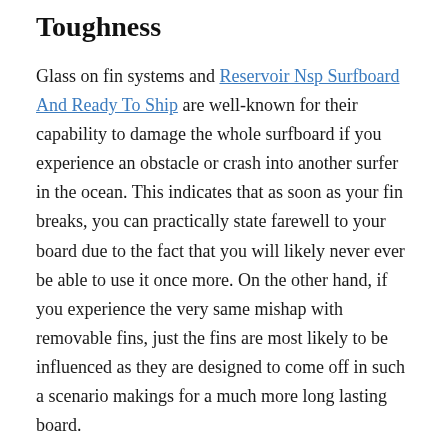Toughness
Glass on fin systems and Reservoir Nsp Surfboard And Ready To Ship are well-known for their capability to damage the whole surfboard if you experience an obstacle or crash into another surfer in the ocean. This indicates that as soon as your fin breaks, you can practically state farewell to your board due to the fact that you will likely never ever be able to use it once more. On the other hand, if you experience the very same mishap with removable fins, just the fins are most likely to be influenced as they are designed to come off in such a scenario makings for a much more long lasting board.